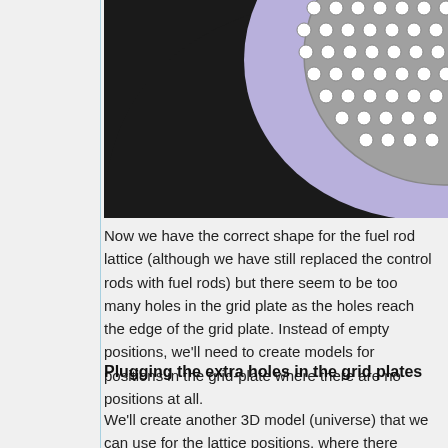[Figure (illustration): Cross-section diagram of a nuclear fuel rod lattice grid plate, showing circular fuel rod holes arranged in a pattern on a grey grid plate, with a purple/lavender region and black background regions. The holes are visible at the edge of the circular lattice boundary.]
Now we have the correct shape for the fuel rod lattice (although we have still replaced the control rods with fuel rods) but there seem to be too many holes in the grid plate as the holes reach the edge of the grid plate. Instead of empty positions, we'll need to create models for positions in the grid-plate where there are no positions at all.
Plugging the extra holes in the grid plates
We'll create another 3D model (universe) that we can use for the lattice positions, where there should not be a hole in the grid plates. As this is a rather simple